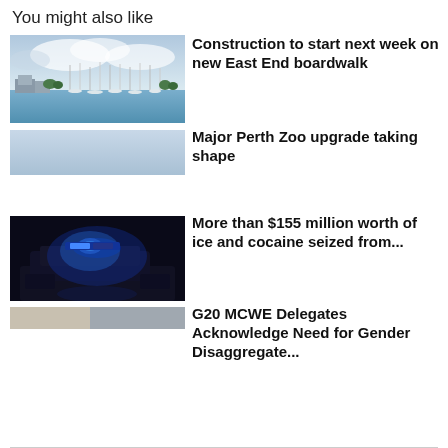You might also like
[Figure (photo): Marina with sailboats and cloudy sky]
Construction to start next week on new East End boardwalk
[Figure (photo): Light blue/grey plain image thumbnail]
Major Perth Zoo upgrade taking shape
[Figure (photo): Police car with blue flashing light at night]
More than $155 million worth of ice and cocaine seized from...
[Figure (photo): Partially visible thumbnail image]
G20 MCWE Delegates Acknowledge Need for Gender Disaggregate...